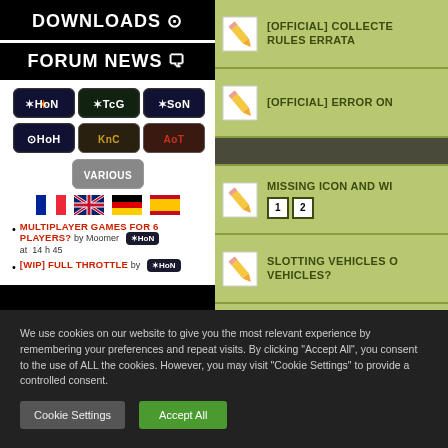DOWNLOADS
FORUM NEWS
[Figure (screenshot): Game badge icons: HoN, TcG, SoN, HoH, KnC, AoT, Various; flag icons for French, English, German, Spanish]
MULTIPLAYER GAMES FOR 6 PLAYERS? by Moomer at 14 h 45
[WIP] FULL THROTTLE by
[Figure (screenshot): Right panel with forum thread entries: [OFFICIAL] COLLECTED RULES ERRATA, [OFFICIAL] ERROR ON, MISSING ICON AND WI (pages 1 2), SLOTTING VEHICLES O VEHICLES?]
We use cookies on our website to give you the most relevant experience by remembering your preferences and repeat visits. By clicking “Accept All”, you consent to the use of ALL the cookies. However, you may visit "Cookie Settings" to provide a controlled consent.